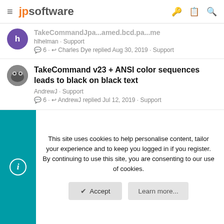jpsoftware
TakeCommandJpa... (truncated title) · hlhelman · Support · 6 · Charles Dye replied Aug 30, 2019 · Support
TakeCommand v23 + ANSI color sequences leads to black on black text
AndrewJ · Support · 6 · AndrewJ replied Jul 12, 2019 · Support
Permanently registering TakeCommand v8.02.106?
vefatica · Support · 17 · w.krieger replied Nov 9, 2018 · Support
This site uses cookies to help personalise content, tailor your experience and to keep you logged in if you register.
By continuing to use this site, you are consenting to our use of cookies.